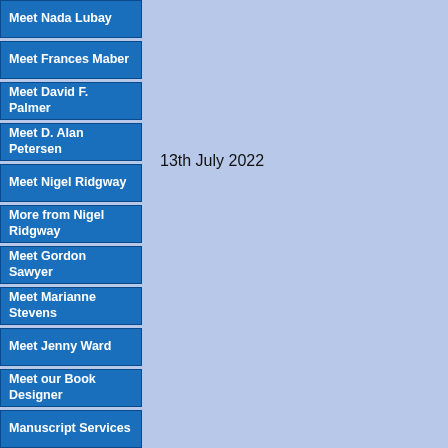Meet Nada Lubay
Meet Frances Maber
Meet David F. Palmer
Meet D. Alan Petersen
Meet Nigel Ridgway
More from Nigel Ridgway
Meet Gordon Sawyer
Meet Marianne Stevens
Meet Jenny Ward
Meet our Book Designer
Manuscript Services
Children's Picture Books
Fiction
Fiction 2
More...
13th July 2022